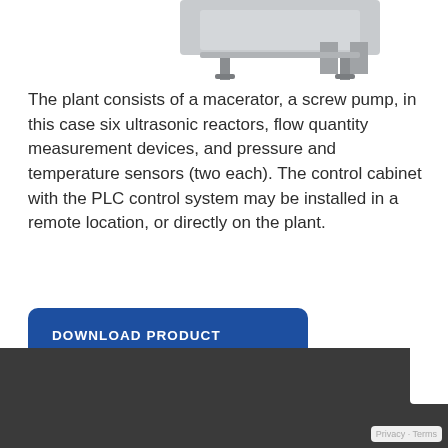[Figure (photo): Partial view of industrial equipment/plant machinery shown at top of page]
The plant consists of a macerator, a screw pump, in this case six ultrasonic reactors, flow quantity measurement devices, and pressure and temperature sensors (two each). The control cabinet with the PLC control system may be installed in a remote location, or directly on the plant.
DOWNLOAD PRODUCT BROCHURE
Privacy · Terms